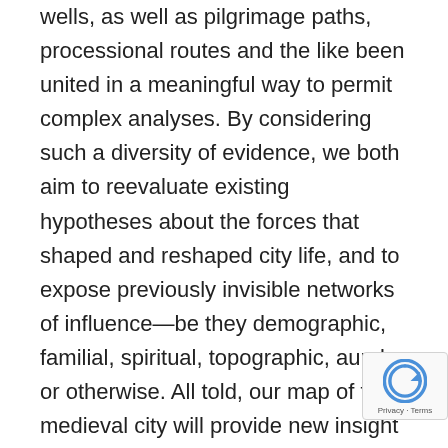wells, as well as pilgrimage paths, processional routes and the like been united in a meaningful way to permit complex analyses. By considering such a diversity of evidence, we both aim to reevaluate existing hypotheses about the forces that shaped and reshaped city life, and to expose previously invisible networks of influence—be they demographic, familial, spiritual, topographic, aural or otherwise. All told, our map of the medieval city will provide new insight into the social and physical factors that shaped lives and spaces over centuries. The project's significance reaches beyond the confines of medieval Rome by not only promising to become one of the main tools for investigating the city writ large, but also—give Rome's rich urban fabric and its spiritual and poli importance—by permitting us to revisit the medieval